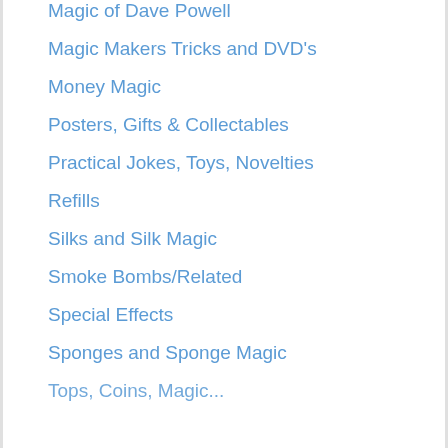Magic of Dave Powell
Magic Makers Tricks and DVD's
Money Magic
Posters, Gifts & Collectables
Practical Jokes, Toys, Novelties
Refills
Silks and Silk Magic
Smoke Bombs/Related
Special Effects
Sponges and Sponge Magic
Tops, Coins, Magic...